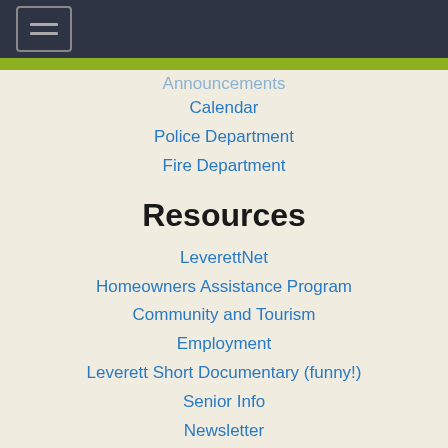[Figure (screenshot): Dark header bar with hamburger menu icon and green accent bar below]
Announcements
Calendar
Police Department
Fire Department
Resources
LeverettNet
Homeowners Assistance Program
Community and Tourism
Employment
Leverett Short Documentary (funny!)
Senior Info
Newsletter
CodeRED